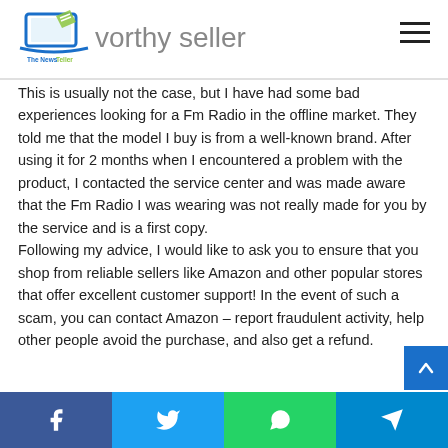…worthy seller — The News Teller
This is usually not the case, but I have had some bad experiences looking for a Fm Radio in the offline market. They told me that the model I buy is from a well-known brand. After using it for 2 months when I encountered a problem with the product, I contacted the service center and was made aware that the Fm Radio I was wearing was not really made for you by the service and is a first copy.
Following my advice, I would like to ask you to ensure that you shop from reliable sellers like Amazon and other popular stores that offer excellent customer support! In the event of such a scam, you can contact Amazon – report fraudulent activity, help other people avoid the purchase, and also get a refund.